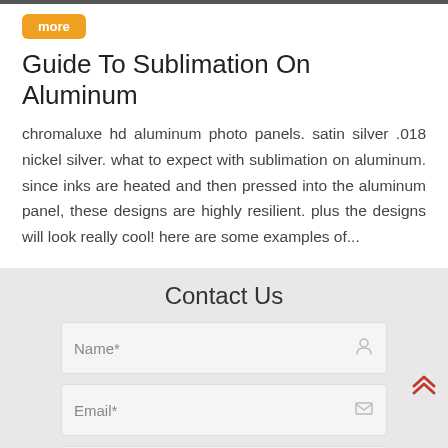Guide To Sublimation On Aluminum
chromaluxe hd aluminum photo panels. satin silver .018 nickel silver. what to expect with sublimation on aluminum. since inks are heated and then pressed into the aluminum panel, these designs are highly resilient. plus the designs will look really cool! here are some examples of...
Contact Us
Name*
Email*
Phone*